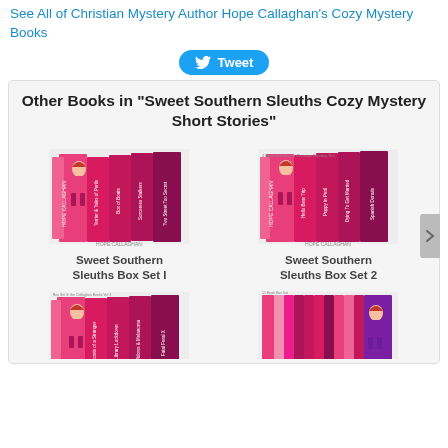See All of Christian Mystery Author Hope Callaghan's Cozy Mystery Books
[Figure (other): Twitter Tweet button]
Other Books in "Sweet Southern Sleuths Cozy Mystery Short Stories"
[Figure (photo): Book cover image for Sweet Southern Sleuths Box Set I]
Sweet Southern Sleuths Box Set I
[Figure (photo): Book cover image for Sweet Southern Sleuths Box Set 2]
Sweet Southern Sleuths Box Set 2
[Figure (photo): Book cover image for Sweet Southern Sleuths Box Set 3 (partial)]
[Figure (photo): Book cover image for Sweet Southern Sleuths large box set (partial)]